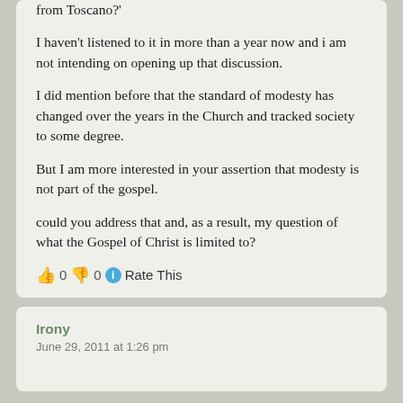from Toscano?'
I haven't listened to it in more than a year now and i am not intending on opening up that discussion.
I did mention before that the standard of modesty has changed over the years in the Church and tracked society to some degree.
But I am more interested in your assertion that modesty is not part of the gospel.
could you address that and, as a result, my question of what the Gospel of Christ is limited to?
👍 0 👎 0 ℹ Rate This
Irony
June 29, 2011 at 1:26 pm